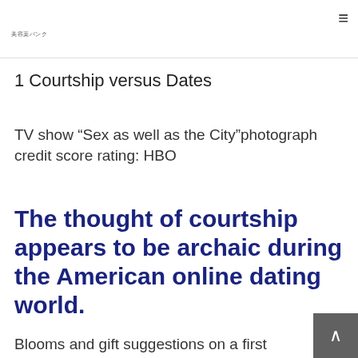美容薬バンク
1 Courtship versus Dates
TV show “Sex as well as the City”photograph credit score rating: HBO
The thought of courtship appears to be archaic during the American online dating world.
Blooms and gift suggestions on a first